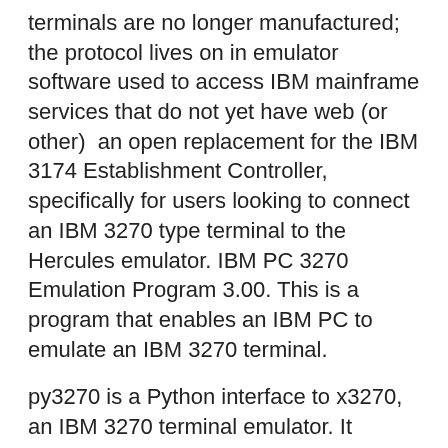terminals are no longer manufactured; the protocol lives on in emulator software used to access IBM mainframe services that do not yet have web (or other)  an open replacement for the IBM 3174 Establishment Controller, specifically for users looking to connect an IBM 3270 type terminal to the Hercules emulator. IBM PC 3270 Emulation Program 3.00. This is a program that enables an IBM PC to emulate an IBM 3270 terminal.
py3270 is a Python interface to x3270, an IBM 3270 terminal emulator. It provides an API to a x3270 or s3270 subprocess. Chocolatey is software management automation for Windows that wraps installers, executables, zips, and scripts into compiled packages.
Bla och gul